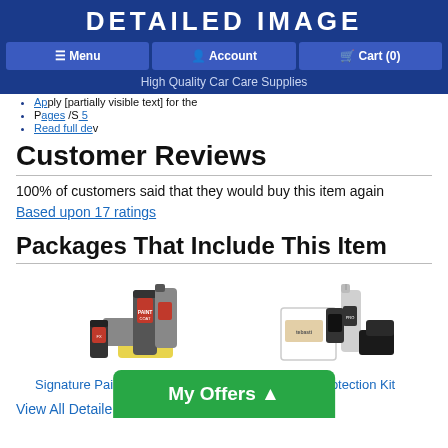DETAILED IMAGE — Menu | Account | Cart (0) — High Quality Car Care Supplies
Apply [partially visible text]
Read full de[partially visible text]
Customer Reviews
100% of customers said that they would buy this item again
Based upon 17 ratings
Packages That Include This Item
[Figure (photo): Signature Paint Protection Kit product image showing bottles and applicator pads]
Signature Paint Protection Kit
[Figure (photo): Pro Paint Protection Kit product image showing spray bottle and black sponge blocks]
Pro Paint Protection Kit
View All Detaile[d Image products]
My Offers